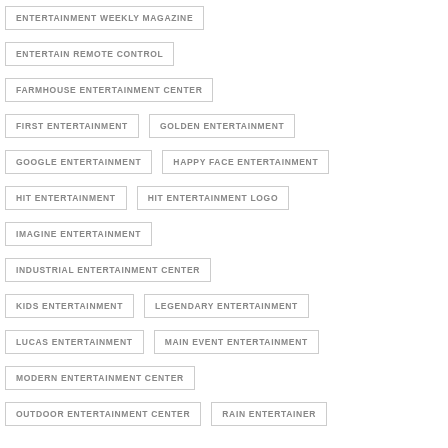ENTERTAINMENT WEEKLY MAGAZINE
ENTERTAIN REMOTE CONTROL
FARMHOUSE ENTERTAINMENT CENTER
FIRST ENTERTAINMENT
GOLDEN ENTERTAINMENT
GOOGLE ENTERTAINMENT
HAPPY FACE ENTERTAINMENT
HIT ENTERTAINMENT
HIT ENTERTAINMENT LOGO
IMAGINE ENTERTAINMENT
INDUSTRIAL ENTERTAINMENT CENTER
KIDS ENTERTAINMENT
LEGENDARY ENTERTAINMENT
LUCAS ENTERTAINMENT
MAIN EVENT ENTERTAINMENT
MODERN ENTERTAINMENT CENTER
OUTDOOR ENTERTAINMENT CENTER
RAIN ENTERTAINER